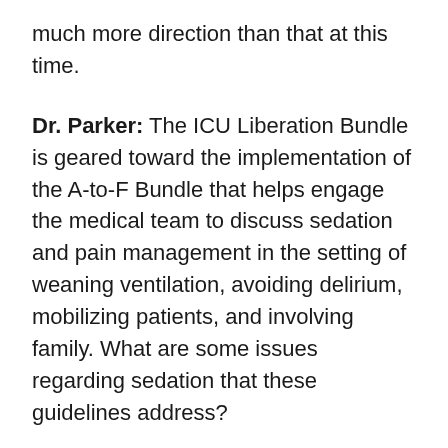much more direction than that at this time.
Dr. Parker: The ICU Liberation Bundle is geared toward the implementation of the A-to-F Bundle that helps engage the medical team to discuss sedation and pain management in the setting of weaning ventilation, avoiding delirium, mobilizing patients, and involving family. What are some issues regarding sedation that these guidelines address?
Dr. Smith: I think that the guidelines in many ways pointed out to many of us what we didn't know. We recognize that there's a need to provide anxiolysis and comfort to our patients. That's a necessity, right? But the time of sedating in this belief that it alone prevents trauma or prevents memories of the ICU